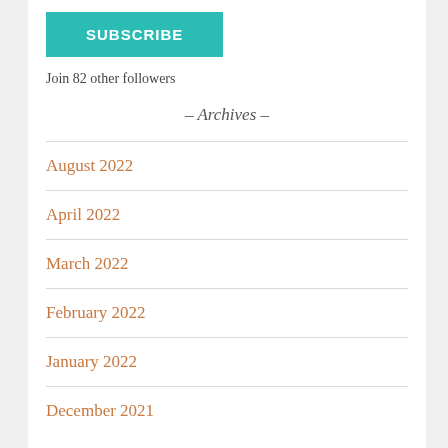SUBSCRIBE
Join 82 other followers
- Archives -
August 2022
April 2022
March 2022
February 2022
January 2022
December 2021